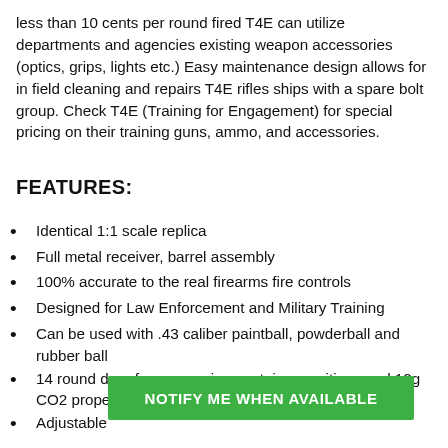less than 10 cents per round fired T4E can utilize departments and agencies existing weapon accessories (optics, grips, lights etc.) Easy maintenance design allows for in field cleaning and repairs T4E rifles ships with a spare bolt group. Check T4E (Training for Engagement) for special pricing on their training guns, ammo, and accessories.
FEATURES:
Identical 1:1 scale replica
Full metal receiver, barrel assembly
100% accurate to the real firearms fire controls
Designed for Law Enforcement and Military Training
Can be used with .43 caliber paintball, powderball and rubber ball
14 round drop free magazine contains munitions and 12g CO2 propella...
Adjustable...
[Figure (other): Green 'NOTIFY ME WHEN AVAILABLE' button overlay banner]